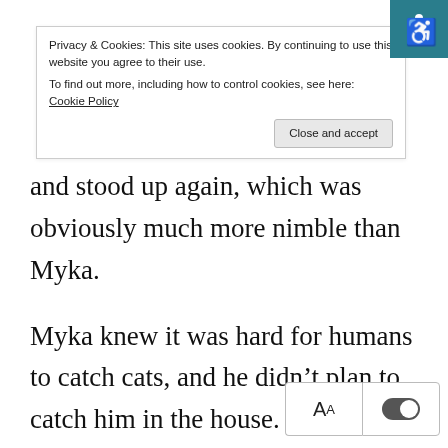Privacy & Cookies: This site uses cookies. By continuing to use this website you agree to their use. To find out more, including how to control cookies, see here: Cookie Policy
and stood up again, which was obviously much more nimble than Myka.
Myka knew it was hard for humans to catch cats, and he didn’t plan to catch him in the house. He thought that once Sylar was trapped, Sylar would turn into a human being and apologize shyly!
The cat tried to jump on the table, but it didn’t succeed because the ground was too slippe… jumped a little farther. Myka thought about whether it